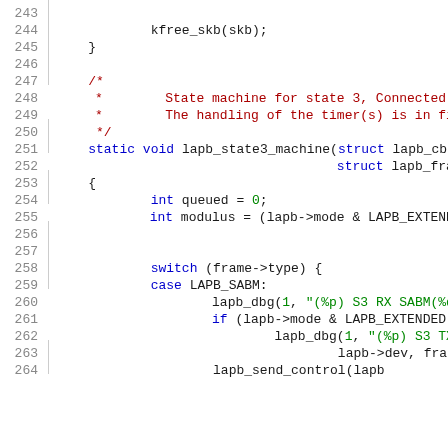[Figure (screenshot): Source code listing showing C code for lapb_state3_machine function, lines 243-264, with syntax highlighting: line numbers in grey, keywords in blue, comments in red, strings/numbers in green.]